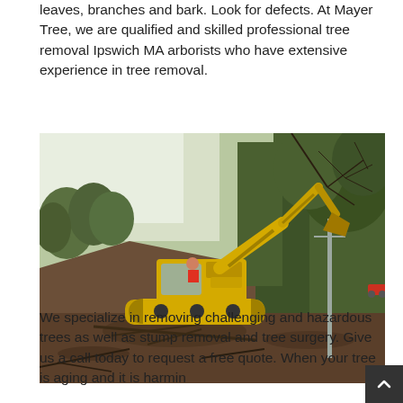leaves, branches and bark. Look for defects. At Mayer Tree, we are qualified and skilled professional tree removal Ipswich MA arborists who have extensive experience in tree removal.
[Figure (photo): A yellow excavator/crawler machine clearing trees and vegetation on a sloped embankment. The machine has its arm extended grabbing branches. Background shows dense trees and a utility pole.]
We specialize in removing challenging and hazardous trees as well as stump removal and tree surgery. Give us a call today to request a free quote. When your tree is aging and it is harming...